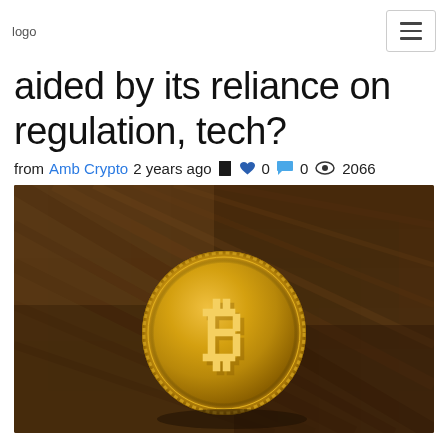logo | hamburger menu
aided by its reliance on regulation, tech?
from Amb Crypto 2 years ago 🔖 ❤ 0 💬 0 👁 2066
[Figure (photo): A gold Bitcoin coin lying on a dark wooden surface, photographed close-up. The coin displays the Bitcoin 'B' symbol.]